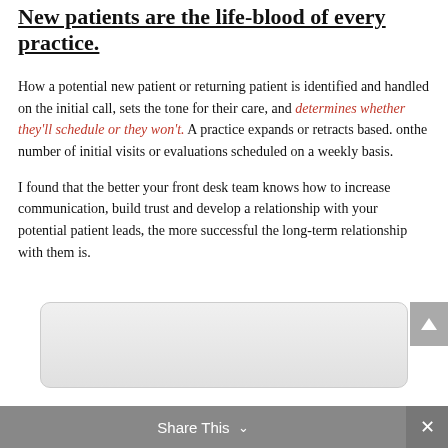New patients are the life-blood of every practice.
How a potential new patient or returning patient is identified and handled on the initial call, sets the tone for their care, and determines whether they'll schedule or they won't. A practice expands or retracts based. onthe number of initial visits or evaluations scheduled on a weekly basis.
I found that the better your front desk team knows how to increase communication, build trust and develop a relationship with your potential patient leads, the more successful the long-term relationship with them is.
[Figure (other): Rounded rectangle video embed placeholder with light gray gradient background]
Share This ∨  ✕